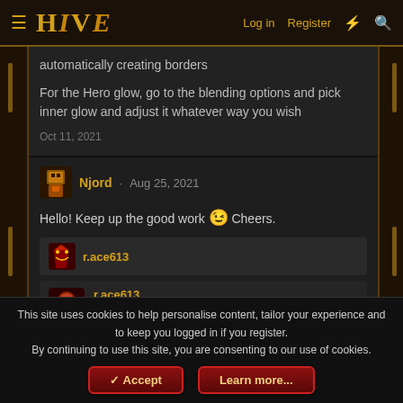HIVE | Log in | Register
automatically creating borders

For the Hero glow, go to the blending options and pick inner glow and adjust it whatever way you wish

Oct 11, 2021
Njord · Aug 25, 2021
Hello! Keep up the good work 😉 Cheers.
r.ace613
r.ace613
Hey! Thanks, I will, if time permits me to 🙂
Aug 25, 2021
This site uses cookies to help personalise content, tailor your experience and to keep you logged in if you register.
By continuing to use this site, you are consenting to our use of cookies.
Accept  Learn more...